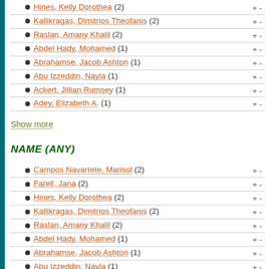Hines, Kelly Dorothea (2)
Kallikragas, Dimitrios Theofanis (2)
Raslan, Amany Khalil (2)
Abdel Hady, Mohamed (1)
Abrahamse, Jacob Ashton (1)
Abu Izzeddin, Nayla (1)
Ackert, Jillian Rumsey (1)
Adey, Elizabeth A. (1)
Show more
NAME (ANY)
Campos Navarrete, Marisol (2)
Farell, Jana (2)
Hines, Kelly Dorothea (2)
Kallikragas, Dimitrios Theofanis (2)
Raslan, Amany Khalil (2)
Abdel Hady, Mohamed (1)
Abrahamse, Jacob Ashton (1)
Abu Izzeddin, Nayla (1)
Ackert, Jillian Rumsey (1)
Adey, Elizabeth A. (1)
Show more